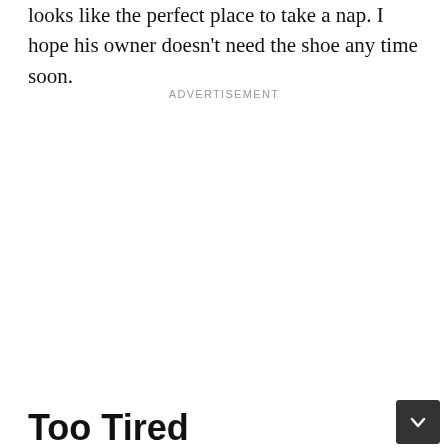looks like the perfect place to take a nap. I hope his owner doesn't need the shoe any time soon.
ADVERTISEMENT
Too Tired